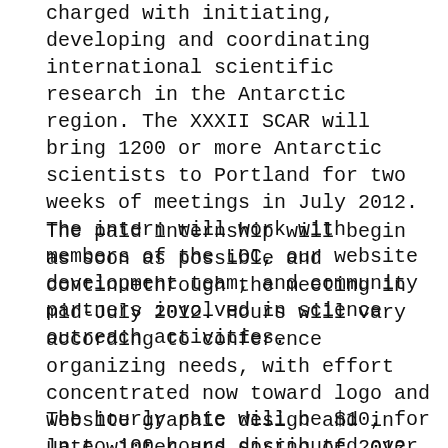charged with initiating, developing and coordinating international scientific research in the Antarctic region. The XXXII SCAR will bring 1200 or more Antarctic scientists to Portland for two weeks of meetings in July 2012. The intern will work with members of the LOC, our website development team, and community partners involved in science outreach activities.
The paid internship will begin as soon as possible and continuethrough the meeting in mid-July 2012. Hours will vary according to conference organizing needs, with effort concentrated now toward logo and website graphic design and in late winter and spring of 2012, during the ramp-up to the conference. Details are negotiable.
The hourly rate will be $10, for up to 100 hours disributed over the organization period, although the